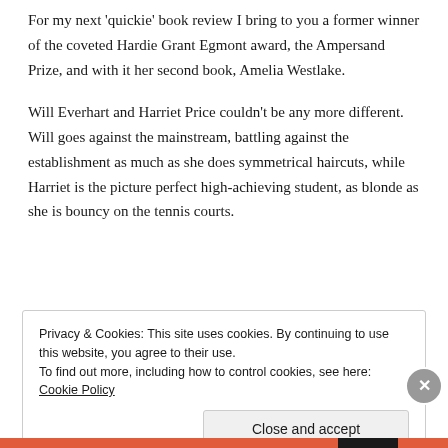For my next 'quickie' book review I bring to you a former winner of the coveted Hardie Grant Egmont award, the Ampersand Prize, and with it her second book, Amelia Westlake.
Will Everhart and Harriet Price couldn't be any more different. Will goes against the mainstream, battling against the establishment as much as she does symmetrical haircuts, while Harriet is the picture perfect high-achieving student, as blonde as she is bouncy on the tennis courts.
Privacy & Cookies: This site uses cookies. By continuing to use this website, you agree to their use. To find out more, including how to control cookies, see here: Cookie Policy
Close and accept